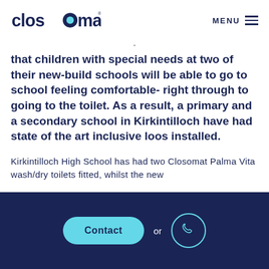Closomat | MENU
that children with special needs at two of their new-build schools will be able to go to school feeling comfortable- right through to going to the toilet. As a result, a primary and a secondary school in Kirkintilloch have had state of the art inclusive loos installed.
Kirkintilloch High School has had two Closomat Palma Vita wash/dry toilets fitted, whilst the new
Contact or [phone icon]